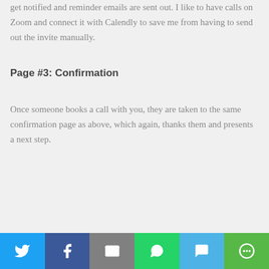get notified and reminder emails are sent out. I like to have calls on Zoom and connect it with Calendly to save me from having to send out the invite manually.
Page #3: Confirmation
Once someone books a call with you, they are taken to the same confirmation page as above, which again, thanks them and presents a next step.
[Figure (infographic): Social share bar with six buttons: Twitter (blue), Facebook (dark blue), Email (gray), WhatsApp (green), SMS (light blue), More (green)]